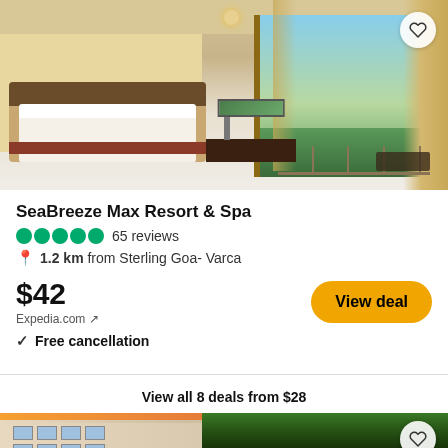[Figure (photo): Hotel room interior photo showing a large bed with white sheets, wooden desk and chair, wall-mounted TV, and sliding glass doors opening to a balcony with tropical trees visible outside. Warm beige and wood tones throughout.]
SeaBreeze Max Resort & Spa
●●●●● 65 reviews
📍 1.2 km from Sterling Goa- Varca
$42
Expedia.com ↗
✓  Free cancellation
View all 8 deals from $28
[Figure (photo): Exterior photo of a hotel building at dusk/sunset, with colonial-style architecture visible on the left and dense tropical palm trees on the right, warm orange sky in the background.]